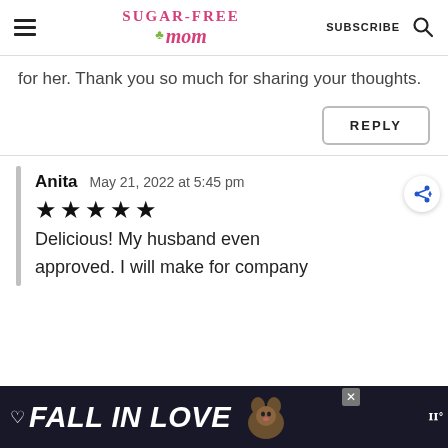Sugar-Free Mom | SUBSCRIBE
for her. Thank you so much for sharing your thoughts.
REPLY
Anita   May 21, 2022 at 5:45 pm
★★★★★ Delicious! My husband even approved. I will make for company
[Figure (screenshot): FALL IN LOVE advertisement banner at bottom of page]